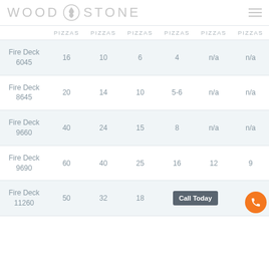WOOD STONE
|  | PIZZAS | PIZZAS | PIZZAS | PIZZAS | PIZZAS | PIZZAS |
| --- | --- | --- | --- | --- | --- | --- |
| Fire Deck 6045 | 16 | 10 | 6 | 4 | n/a | n/a |
| Fire Deck 8645 | 20 | 14 | 10 | 5-6 | n/a | n/a |
| Fire Deck 9660 | 40 | 24 | 15 | 8 | n/a | n/a |
| Fire Deck 9690 | 60 | 40 | 25 | 16 | 12 | 9 |
| Fire Deck 11260 | 50 | 32 | 18 |  |  |  |